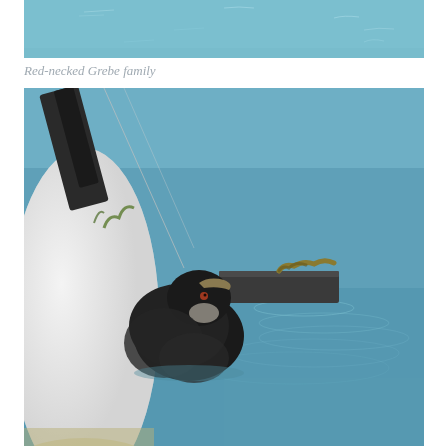[Figure (photo): Partial top of a photo showing blue water surface with ripples, likely part of a Red-necked Grebe family scene]
Red-necked Grebe family
[Figure (photo): A dark-feathered bird chick (grebe chick) swimming near a white buoy and a floating dock platform with rope, on calm blue water with ripples]